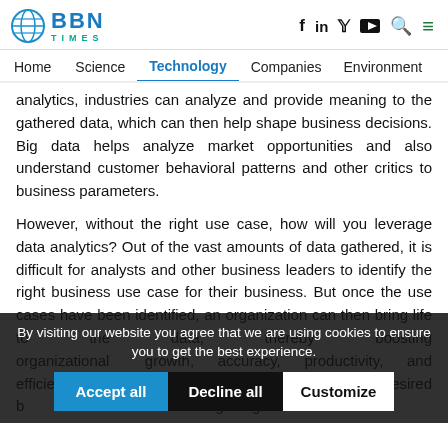BBN TIMES — Home | Science | Technology | Companies | Environment
analytics, industries can analyze and provide meaning to the gathered data, which can then help shape business decisions. Big data helps analyze market opportunities and also understand customer behavioral patterns and other critics to business parameters.
However, without the right use case, how will you leverage data analytics? Out of the vast amounts of data gathered, it is difficult for analysts and other business leaders to identify the right business use case for their business. But once the use cases have been identified, an organization can then bring life to the data, thereby boosting organizational growth, accuracy, productivity, and efficiency. Therefore, the first step towards getting the desired b... to... le... right big data use...
By visiting our website you agree that we are using cookies to ensure you to get the best experience. [Accept all] [Decline all] [Customize]